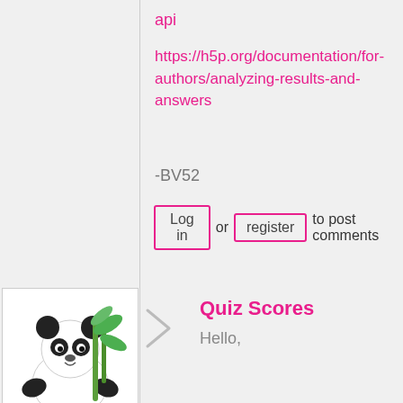api
https://h5p.org/documentation/for-authors/analyzing-results-and-answers
-BV52
Log in or register to post comments
[Figure (illustration): Panda bear illustration sitting with bamboo]
eolexiuc
Wed,
Quiz Scores
Hello,